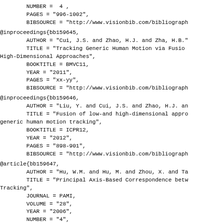NUMBER =  4 ,
        PAGES = "996-1002",
        BIBSOURCE = "http://www.visionbib.com/bibliograph
@inproceedings{bb159645,
        AUTHOR = "Cui, J.S. and Zhao, H.J. and Zha, H.B."
        TITLE = "Tracking Generic Human Motion via Fusion
High-Dimensional Approaches",
        BOOKTITLE = BMVC11,
        YEAR = "2011",
        PAGES = "xx-yy",
        BIBSOURCE = "http://www.visionbib.com/bibliograph
@inproceedings{bb159646,
        AUTHOR = "Liu, Y. and Cui, J.S. and Zhao, H.J. an"
        TITLE = "Fusion of low-and high-dimensional appro
generic human motion tracking",
        BOOKTITLE = ICPR12,
        YEAR = "2012",
        PAGES = "898-901",
        BIBSOURCE = "http://www.visionbib.com/bibliograph
@article{bb159647,
        AUTHOR = "Hu, W.M. and Hu, M. and Zhou, X. and Ta"
        TITLE = "Principal Axis-Based Correspondence betw
Tracking",
        JOURNAL = PAMI,
        VOLUME = "28",
        YEAR = "2006",
        NUMBER = "4",
        MONTH = "April",